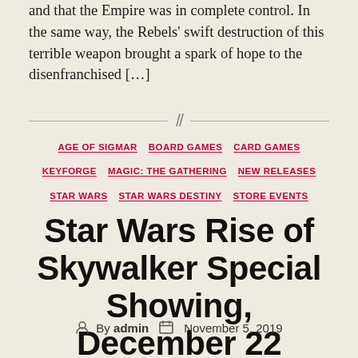and that the Empire was in complete control. In the same way, the Rebels' swift destruction of this terrible weapon brought a spark of hope to the disenfranchised […]
AGE OF SIGMAR  BOARD GAMES  CARD GAMES  KEYFORGE  MAGIC: THE GATHERING  NEW RELEASES  STAR WARS  STAR WARS DESTINY  STORE EVENTS
Star Wars Rise of Skywalker Special Showing, December 22
By admin  November 5, 2019